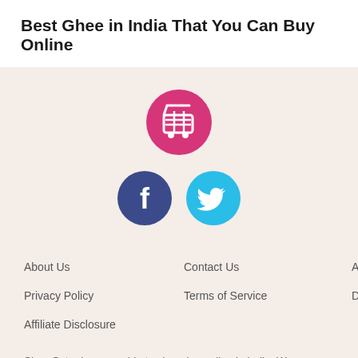Best Ghee in India That You Can Buy Online
[Figure (illustration): Website footer section with a pink shopping cart logo icon centered, below it two social media icons: a dark blue Facebook circle icon and a cyan Twitter circle icon side by side.]
About Us
Contact Us
Advertise With Us
Privacy Policy
Terms of Service
Disclaimer
Affiliate Disclosure
Shop Sutra is your guide to shopping online in India. We cover most